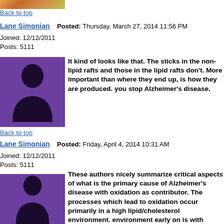[Figure (photo): Partial top image, cropped]
Back to top
Lane Simonian   Posted: Thursday, March 27, 2014 11:56 PM
Joined: 12/12/2011
Posts: 5111
[Figure (illustration): Purple silhouette avatar of a person]
It kind of looks like that.  The sticks in the non-lipid rafts and those in the lipid rafts don't.  More important than where they end up, is how they are produced.  you stop Alzheimer's disease.
Back to top
Lane Simonian   Posted: Friday, April 4, 2014 10:31 AM
Joined: 12/12/2011
Posts: 5111
[Figure (illustration): Purple silhouette avatar of a person]
These authors nicely summarize critical aspects of what is the primary cause of Alzheimer's disease with oxidation as contributor.  The processes which lead to oxidation occur primarily in a high lipid/cholesterol environment.  Keeping that environment early on is with Omega 3-fatty acids and potent antioxidants this is the best way to delay.  If more researchers would focus on the best antioxidants for the disease, we would not have to wait so long for treating the disease.